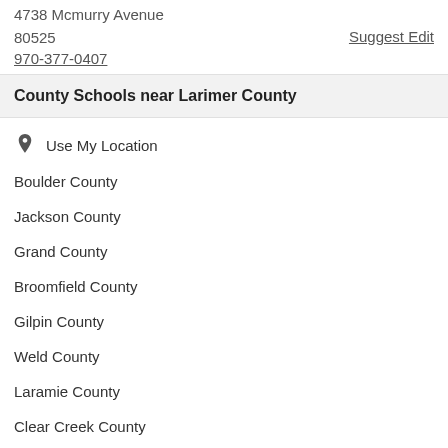4738 Mcmurry Avenue
80525
970-377-0407
Suggest Edit
County Schools near Larimer County
Use My Location
Boulder County
Jackson County
Grand County
Broomfield County
Gilpin County
Weld County
Laramie County
Clear Creek County